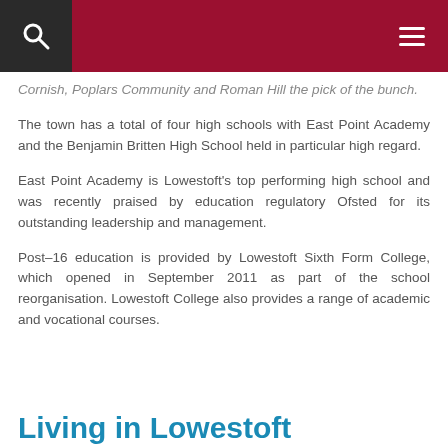Cornish, Poplars Community and Roman Hill the pick of the bunch.
The town has a total of four high schools with East Point Academy and the Benjamin Britten High School held in particular high regard.
East Point Academy is Lowestoft's top performing high school and was recently praised by education regulatory Ofsted for its outstanding leadership and management.
Post–16 education is provided by Lowestoft Sixth Form College, which opened in September 2011 as part of the school reorganisation. Lowestoft College also provides a range of academic and vocational courses.
Living in Lowestoft